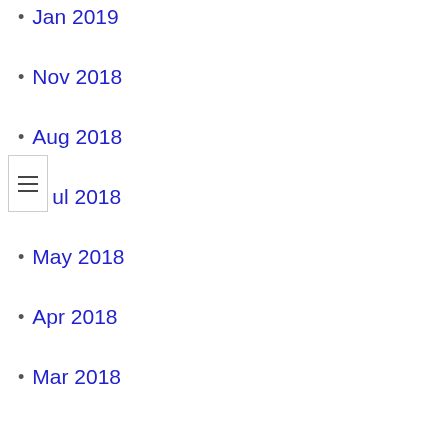Jan 2019
Nov 2018
Aug 2018
Jul 2018
May 2018
Apr 2018
Mar 2018
Feb 2018
Jan 2018
Dec 2017
Nov 2017
May 2017
Apr 2017
Mar 2017
Feb 2017
Dec 2016
Nov 2016
Oct 2016